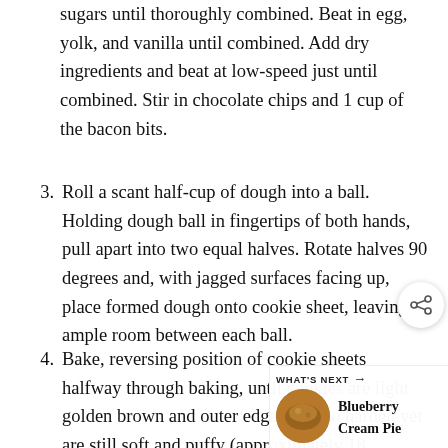sugars until thoroughly combined. Beat in egg, yolk, and vanilla until combined. Add dry ingredients and beat at low-speed just until combined. Stir in chocolate chips and 1 cup of the bacon bits.
3. Roll a scant half-cup of dough into a ball. Holding dough ball in fingertips of both hands, pull apart into two equal halves. Rotate halves 90 degrees and, with jagged surfaces facing up, place formed dough onto cookie sheet, leaving ample room between each ball.
4. Bake, reversing position of cookie sheets halfway through baking, until cookies are light golden brown and outer edges start to harden yet are still soft and puffy (approximately 18 minutes). Do not overbake.